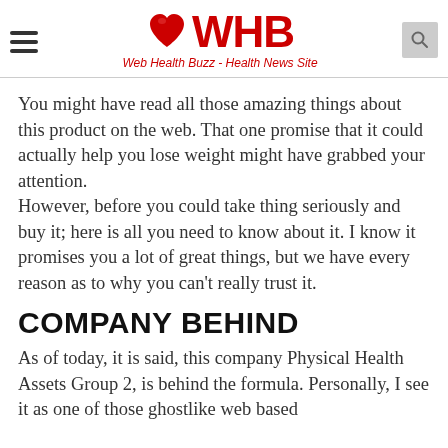WHB - Web Health Buzz - Health News Site
You might have read all those amazing things about this product on the web. That one promise that it could actually help you lose weight might have grabbed your attention.
However, before you could take thing seriously and buy it; here is all you need to know about it. I know it promises you a lot of great things, but we have every reason as to why you can't really trust it.
COMPANY BEHIND
As of today, it is said, this company Physical Health Assets Group 2, is behind the formula. Personally, I see it as one of those ghostlike web based